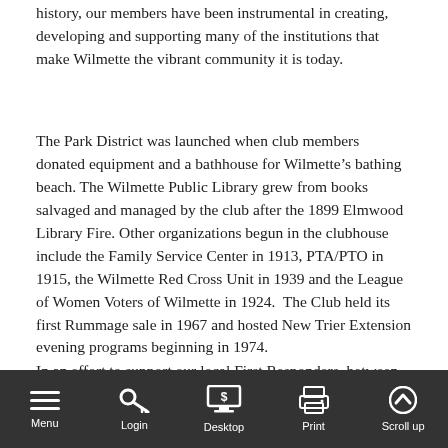history, our members have been instrumental in creating, developing and supporting many of the institutions that make Wilmette the vibrant community it is today.
The Park District was launched when club members donated equipment and a bathhouse for Wilmette's bathing beach. The Wilmette Public Library grew from books salvaged and managed by the club after the 1899 Elmwood Library Fire. Other organizations begun in the clubhouse include the Family Service Center in 1913, PTA/PTO in 1915, the Wilmette Red Cross Unit in 1939 and the League of Women Voters of Wilmette in 1924. The Club held its first Rummage sale in 1967 and hosted New Trier Extension evening programs beginning in 1974.
In an effort to support our local First Responders, between 2001 and 2003, the Club donated 10 defibrillators to the Wilmette Fire Department and one to WJHS. The Club's 2003-2004 Benches to Benefit public art display of 25 decorated benches raised $330,000 of auction proceeds being equally distributed to Family Service Center, Youth Connection and the Warming House. Incommont sense...
[Figure (other): Mobile browser toolbar overlay at bottom of screen with icons: Menu (hamburger), Login (key), Desktop (monitor with dollar sign), Print (printer), Scroll up (arrow up). Dark grey background, white icons and text.]